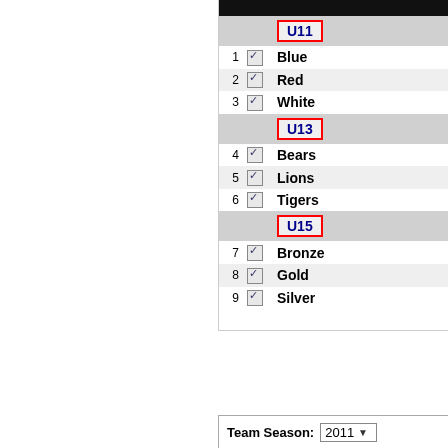[Figure (screenshot): A UI table showing divisions and teams with checkboxes. Division U11 (highlighted in red border) contains teams: Blue, Red, White. Division U13 (highlighted in red border) contains: Bears, Lions, Tigers. Division U15 (highlighted in red border) contains: Bronze, Gold, Silver. Each row has a number, a checked checkbox, and a team name in bold blue.]
Create your Teams (Teams>Divisi...
From the Divisions & Teams page, click "Add a new...
Enter information about each team such as name, "par... you'll create new teams or copy these teams. Previous... preserved.  Click here to learn more about entering tea...
| Team Season: |
| --- |
| 2011 |